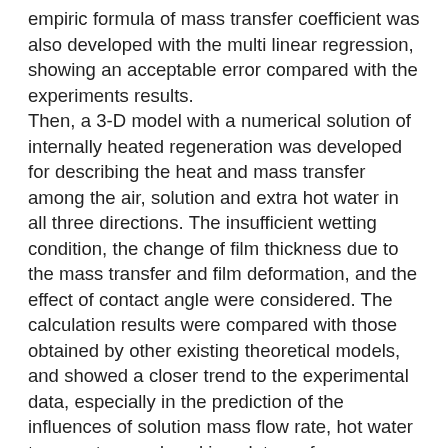empiric formula of mass transfer coefficient was also developed with the multi linear regression, showing an acceptable error compared with the experiments results. Then, a 3-D model with a numerical solution of internally heated regeneration was developed for describing the heat and mass transfer among the air, solution and extra hot water in all three directions. The insufficient wetting condition, the change of film thickness due to the mass transfer and film deformation, and the effect of contact angle were considered. The calculation results were compared with those obtained by other existing theoretical models, and showed a closer trend to the experimental data, especially in the prediction of the influences of solution mass flow rate, hot water temperature and working plate surface temperature. The parameter study showed that the thickness of solution distributor has the greatest impact on the moisture removal rate, and the change of inlet solution temperature results in the most obvious change of the regeneration efficiency. The changes of solution